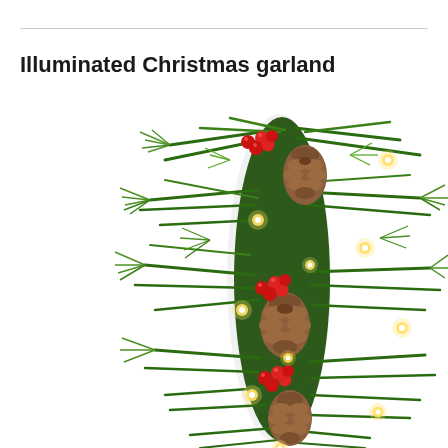Illuminated Christmas garland
[Figure (photo): Close-up photograph of an illuminated Christmas garland with green pine branches, pine cones, red holly berries, and warm yellow LED lights, photographed against a white background.]